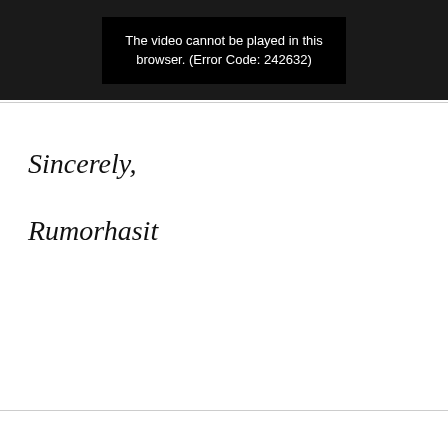[Figure (screenshot): Video player showing error message: 'The video cannot be played in this browser. (Error Code: 242632)']
Sincerely,
Rumorhasit